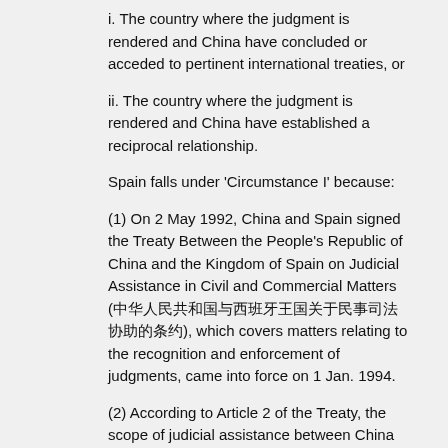i. The country where the judgment is rendered and China have concluded or acceded to pertinent international treaties, or
ii. The country where the judgment is rendered and China have established a reciprocal relationship.
Spain falls under 'Circumstance I' because:
(1) On 2 May 1992, China and Spain signed the Treaty Between the People's Republic of China and the Kingdom of Spain on Judicial Assistance in Civil and Commercial Matters (中华人民共和国与西班牙王国关于民事司法协助的条约), which covers matters relating to the recognition and enforcement of judgments, came into force on 1 Jan. 1994.
(2) According to Article 2 of the Treaty, the scope of judicial assistance between China and Spain includes "recognition and enforcement of court